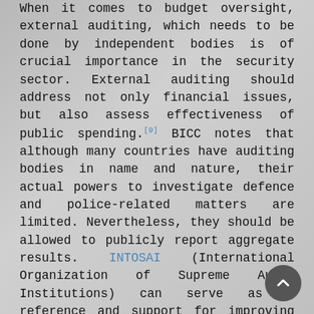When it comes to budget oversight, external auditing, which needs to be done by independent bodies is of crucial importance in the security sector. External auditing should address not only financial issues, but also assess effectiveness of public spending.[9] BICC notes that although many countries have auditing bodies in name and nature, their actual powers to investigate defence and police-related matters are limited. Nevertheless, they should be allowed to publicly report aggregate results. INTOSAI (International Organization of Supreme Audit Institutions) can serve as a reference and support for improving auditing capabilities.[10]
While oversight functions are often performed in a reactive fashion after problems have come to light, there is also a